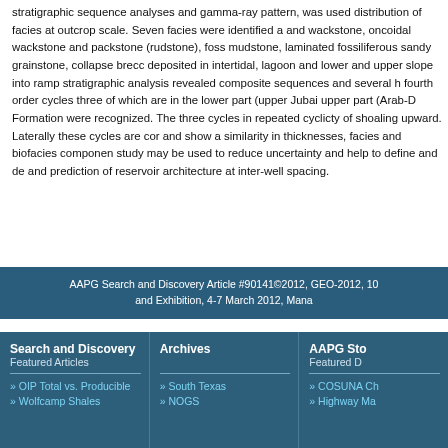stratigraphic sequence analyses and gamma-ray pattern, was used distribution of facies at outcrop scale. Seven facies were identified a and wackstone, oncoidal wackstone and packstone (rudstone), foss mudstone, laminated fossiliferous sandy grainstone, collapse brecc deposited in intertidal, lagoon and lower and upper slope into ramp stratigraphic analysis revealed composite sequences and several h fourth order cycles three of which are in the lower part (upper Jubai upper part (Arab-D Formation were recognized. The three cycles in repeated cyclicty of shoaling upward. Laterally these cycles are cor and show a similarity in thicknesses, facies and biofacies componen study may be used to reduce uncertainty and help to define and de and prediction of reservoir architecture at inter-well spacing.
AAPG Search and Discovery Article #90141©2012, GEO-2012, 10 and Exhibition, 4-7 March 2012, Mana
Search and Discovery
Featured Articles
» OIP Total vs. Producible
» Wolfcamp Shales
Archives
» South Texas
» NOGS
AAPG Sto
Featured D
» COSUNA Ch
» Highway Ma